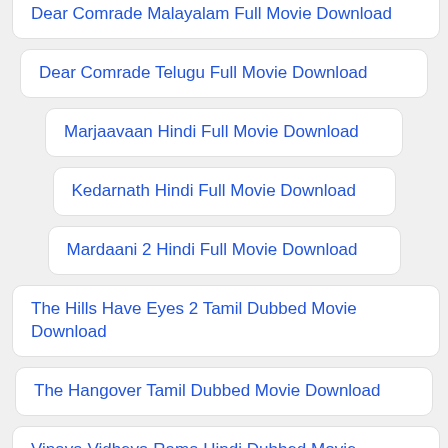Dear Comrade Malayalam Full Movie Download
Dear Comrade Telugu Full Movie Download
Marjaavaan Hindi Full Movie Download
Kedarnath Hindi Full Movie Download
Mardaani 2 Hindi Full Movie Download
The Hills Have Eyes 2 Tamil Dubbed Movie Download
The Hangover Tamil Dubbed Movie Download
Vinaya Vidheya Rama Hindi Dubbed Movie